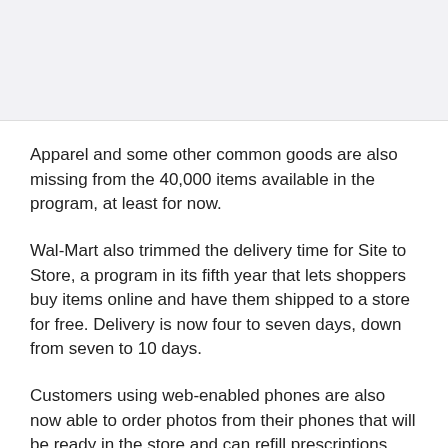[Figure (other): Gray image placeholder at top of page]
Apparel and some other common goods are also missing from the 40,000 items available in the program, at least for now.
Wal-Mart also trimmed the delivery time for Site to Store, a program in its fifth year that lets shoppers buy items online and have them shipped to a store for free. Delivery is now four to seven days, down from seven to 10 days.
Customers using web-enabled phones are also now able to order photos from their phones that will be ready in the store and can refill prescriptions, Wal-Mart said.